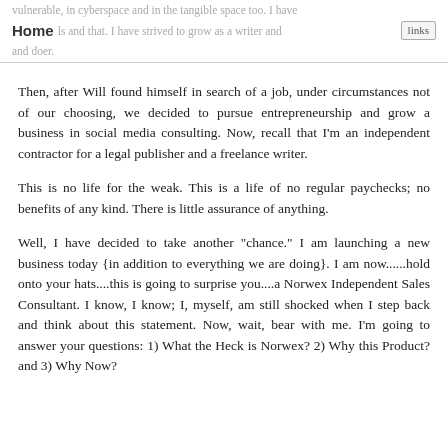vulnerable, in cyberspace and in the tangible space too. I have Home ls and that. I have strived to grow as a writer and [links] and doer.
Then, after Will found himself in search of a job, under circumstances not of our choosing, we decided to pursue entrepreneurship and grow a business in social media consulting. Now, recall that I'm an independent contractor for a legal publisher and a freelance writer.
This is no life for the weak. This is a life of no regular paychecks; no benefits of any kind. There is little assurance of anything.
Well, I have decided to take another "chance." I am launching a new business today {in addition to everything we are doing}. I am now......hold onto your hats....this is going to surprise you....a Norwex Independent Sales Consultant. I know, I know; I, myself, am still shocked when I step back and think about this statement. Now, wait, bear with me. I'm going to answer your questions: 1) What the Heck is Norwex? 2) Why this Product? and 3) Why Now?